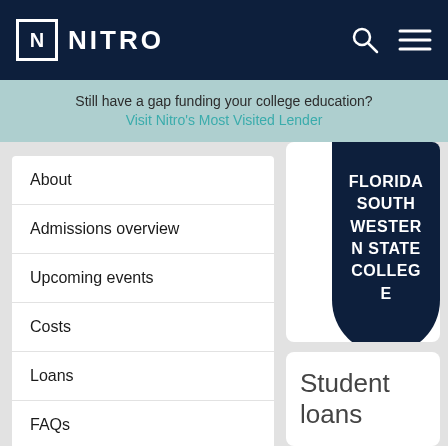NITRO
Still have a gap funding your college education?
Visit Nitro's Most Visited Lender
About
Admissions overview
Upcoming events
Costs
Loans
FAQs
[Figure (logo): Florida South Western State College badge/shield in dark navy blue with white text]
Student loans